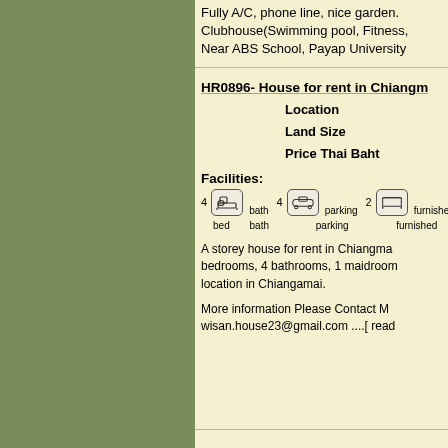Fully A/C, phone line, nice garden. Clubhouse(Swimming pool, Fitness, Near ABS School, Payap University
HR0896- House for rent in Chiangmai
Location
Land Size
Price Thai Baht
Facilities:
4 bed  4 bath  2 parking  Som furnished
A storey house for rent in Chiangmai bedrooms, 4 bathrooms, 1 maidroom location in Chiangamai.
More information Please Contact M wisan.house23@gmail.com ....[ read